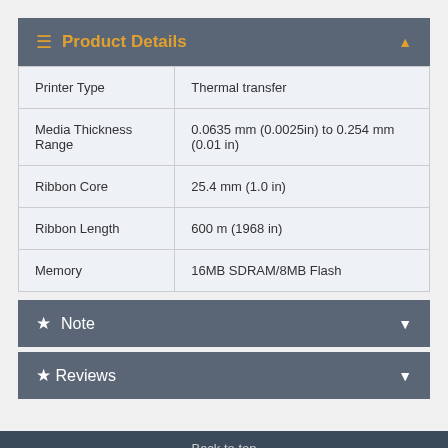Product Details
|  |  |
| --- | --- |
| Printer Type | Thermal transfer |
| Media Thickness Range | 0.0635 mm (0.0025in) to 0.254 mm (0.01 in) |
| Ribbon Core | 25.4 mm (1.0 in) |
| Ribbon Length | 600 m (1968 in) |
| Memory | 16MB SDRAM/8MB Flash |
Note
Reviews
Back to top